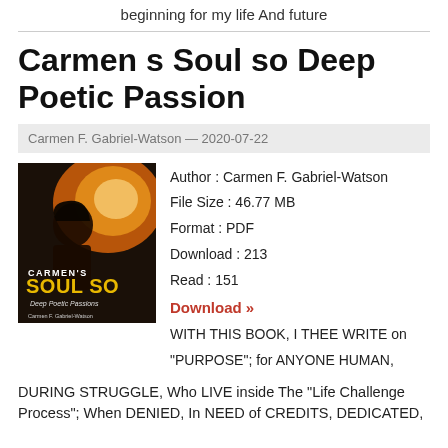beginning for my life And future
Carmen s Soul so Deep Poetic Passion
Carmen F. Gabriel-Watson — 2020-07-22
[Figure (illustration): Book cover of Carmen's Soul So Deep Poetic Passions by Carmen F. Gabriel-Watson, showing a woman with bright light behind her]
Author : Carmen F. Gabriel-Watson
File Size : 46.77 MB
Format : PDF
Download : 213
Read : 151
Download »
WITH THIS BOOK, I THEE WRITE on "PURPOSE"; for ANYONE HUMAN, DURING STRUGGLE, Who LIVE inside The "Life Challenge Process"; When DENIED, In NEED of CREDITS, DEDICATED,